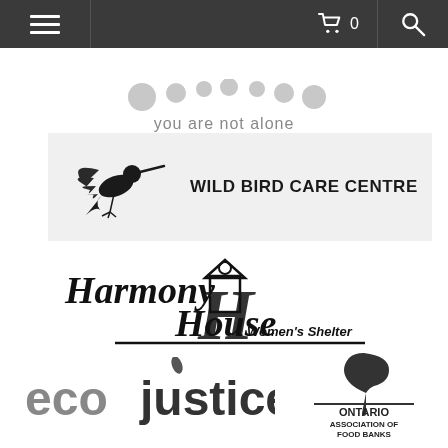[Figure (screenshot): Website navigation bar with hamburger menu icon, shopping cart icon with count 0, and search icon on dark background]
[Figure (logo): Partial logo with text 'you are not alone' in gray below stylized symbol — appears to be a mental health or community support organization logo]
[Figure (logo): Wild Bird Care Centre logo: hummingbird silhouette in black with wings spread, next to bold text WILD BIRD CARE CENTRE, on light gray background]
[Figure (logo): Harmony House Women's Shelter logo: stylized cursive/script text 'Harmony House' with a house icon and figure, and 'Women's Shelter' in italic bold]
[Figure (logo): Ecojustice logo: 'eco' in gray bold lowercase and 'justice' in dark bold lowercase with a small leaf/plant symbol above the 'j']
[Figure (logo): Ontario Association of Food Banks logo: stylized spoon graphic above a horizontal line, with text 'ONTARIO ASSOCIATION OF FOOD BANKS' in bold uppercase]